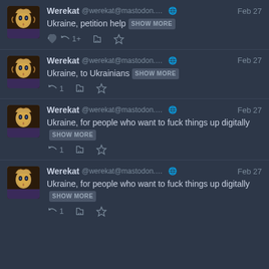Werekat @werekat@mastodon.acc.sune... Feb 27 Ukraine, petition help SHOW MORE
Werekat @werekat@mastodon.acc.sune... Feb 27 Ukraine, to Ukrainians SHOW MORE
Werekat @werekat@mastodon.acc.sune... Feb 27 Ukraine, for people who want to fuck things up digitally SHOW MORE
Werekat @werekat@mastodon.acc.sune... Feb 27 Ukraine, for people who want to fuck things up digitally SHOW MORE